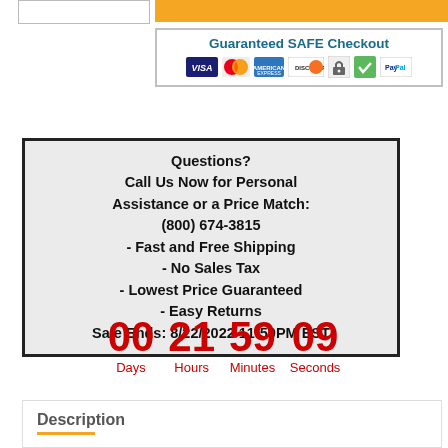[Figure (other): Guaranteed SAFE Checkout banner with payment icons: VISA, Mastercard, American Express, Discover, padlock, checkmark, PayPal]
Questions?
Call Us Now for Personal Assistance or a Price Match:
(800) 674-3815
- Fast and Free Shipping
- No Sales Tax
- Lowest Price Guaranteed
- Easy Returns
Sale Ends: 8/22/2022 11:59PM EST
00 Days  21 Hours  59 Minutes  09 Seconds
Description